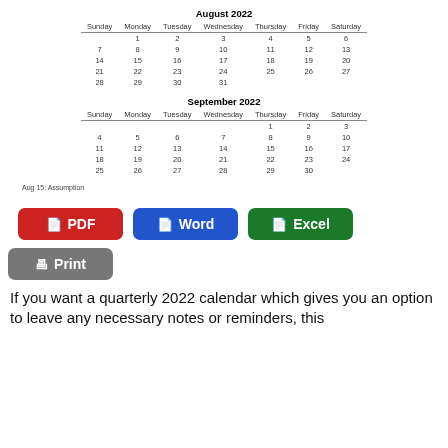| Sunday | Monday | Tuesday | Wednesday | Thursday | Friday | Saturday |
| --- | --- | --- | --- | --- | --- | --- |
|  | 1 | 2 | 3 | 4 | 5 | 6 |
| 7 | 8 | 9 | 10 | 11 | 12 | 13 |
| 14 | 15 | 16 | 17 | 18 | 19 | 20 |
| 21 | 22 | 23 | 24 | 25 | 26 | 27 |
| 28 | 29 | 30 | 31 |  |  |  |
| Sunday | Monday | Tuesday | Wednesday | Thursday | Friday | Saturday |
| --- | --- | --- | --- | --- | --- | --- |
|  |  |  |  | 1 | 2 | 3 |
| 4 | 5 | 6 | 7 | 8 | 9 | 10 |
| 11 | 12 | 13 | 14 | 15 | 16 | 17 |
| 18 | 19 | 20 | 21 | 22 | 23 | 24 |
| 25 | 26 | 27 | 28 | 29 | 30 |  |
Aug 15: Assumption
[Figure (infographic): Buttons for PDF, Word, Excel, Print download options]
If you want a quarterly 2022 calendar which gives you an option to leave any necessary notes or reminders, this